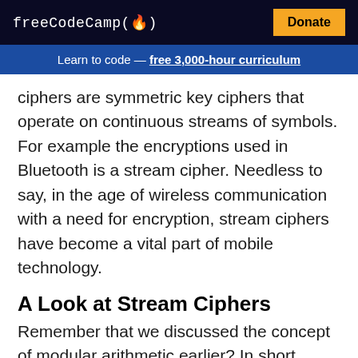freeCodeCamp(🔥)  Donate
Learn to code — free 3,000-hour curriculum
ciphers are symmetric key ciphers that operate on continuous streams of symbols. For example the encryptions used in Bluetooth is a stream cipher. Needless to say, in the age of wireless communication with a need for encryption, stream ciphers have become a vital part of mobile technology.
A Look at Stream Ciphers
Remember that we discussed the concept of modular arithmetic earlier? In short, modular arithmetics are arithmetics in a finite field. Now